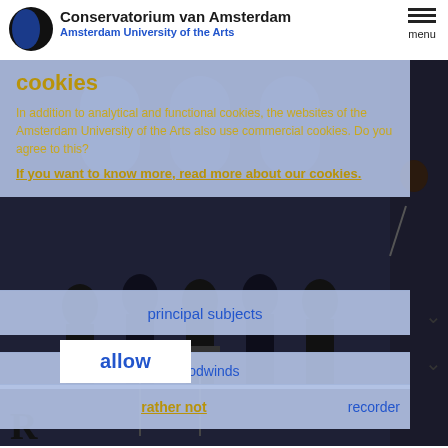Conservatorium van Amsterdam — Amsterdam University of the Arts
cookies
In addition to analytical and functional cookies, the websites of the Amsterdam University of the Arts also use commercial cookies. Do you agree to this?
If you want to know more, read more about our cookies.
[Figure (photo): Orchestra musicians in dark clothing performing in a historic building with arched windows. Separate panel shows a person playing violin in a concert hall.]
principal subjects
woodwinds
recorder
allow
rather not